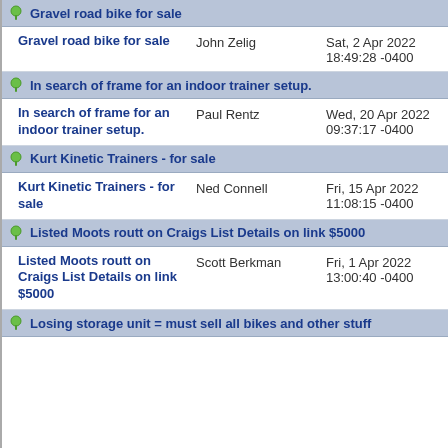Gravel road bike for sale
Gravel road bike for sale | John Zelig | Sat, 2 Apr 2022 18:49:28 -0400
In search of frame for an indoor trainer setup.
In search of frame for an indoor trainer setup. | Paul Rentz | Wed, 20 Apr 2022 09:37:17 -0400
Kurt Kinetic Trainers - for sale
Kurt Kinetic Trainers - for sale | Ned Connell | Fri, 15 Apr 2022 11:08:15 -0400
Listed Moots routt on Craigs List Details on link $5000
Listed Moots routt on Craigs List Details on link $5000 | Scott Berkman | Fri, 1 Apr 2022 13:00:40 -0400
Losing storage unit = must sell all bikes and other stuff